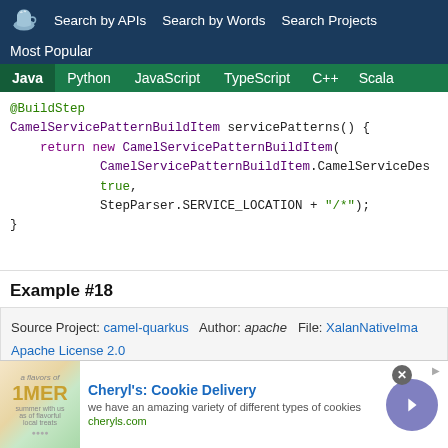Search by APIs   Search by Words   Search Projects   Most Popular
Java  Python  JavaScript  TypeScript  C++  Scala
@BuildStep
CamelServicePatternBuildItem servicePatterns() {
    return new CamelServicePatternBuildItem(
            CamelServicePatternBuildItem.CamelServiceDes
            true,
            StepParser.SERVICE_LOCATION + "/*");
}
Example #18
Source Project: camel-quarkus   Author: apache   File: XalanNativeIma   Apache License 2.0
[Figure (other): Advertisement banner for Cheryl's Cookie Delivery with image of book/product, text 'we have an amazing variety of different types of cookies', cheryls.com, and a navigation arrow button]